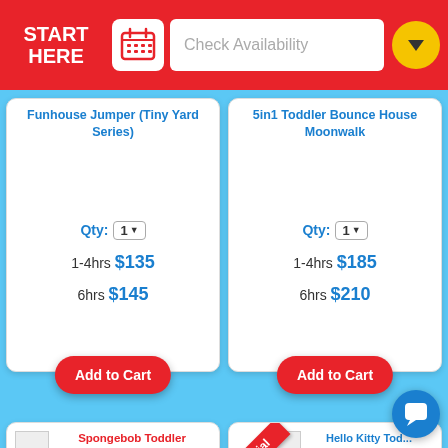START HERE | Check Availability
Funhouse Jumper (Tiny Yard Series)
Qty: 1
1-4hrs $135
6hrs $145
Add to Cart
5in1 Toddler Bounce House Moonwalk
Qty: 1
1-4hrs $185
6hrs $210
Add to Cart
Spongebob Toddler Moonwalk
Spongebob Toddler Obstacle
Hello Kitty Toddler Bounce House
Hello Kitty Toddler